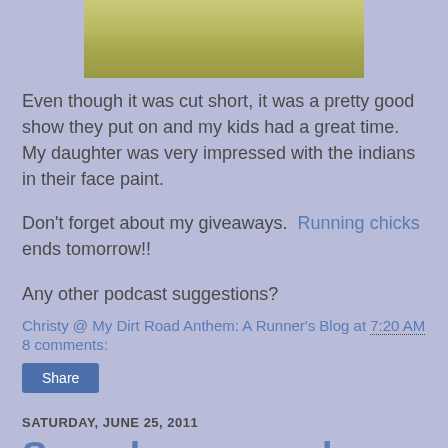[Figure (photo): Partial photo of grassy field, cropped at top of page]
Even though it was cut short, it was a pretty good show they put on and my kids had a great time.  My daughter was very impressed with the indians in their face paint.
Don't forget about my giveaways.  Running chicks ends tomorrow!!
Any other podcast suggestions?
Christy @ My Dirt Road Anthem: A Runner's Blog at 7:20 AM
8 comments:
Share
SATURDAY, JUNE 25, 2011
Superheroes and More
1.  I somehow have lost all of the contacts in my phone..  handy.  I think it may have something to do with a small little